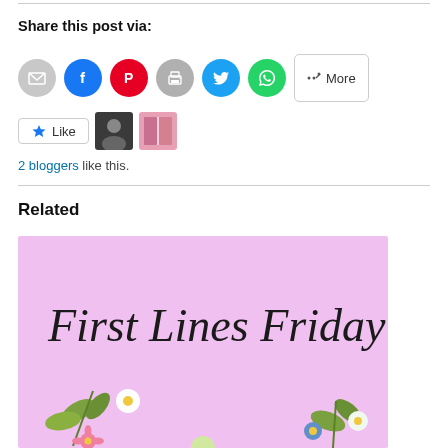Share this post via:
[Figure (infographic): Row of social sharing icon buttons: email (gray), Facebook (blue), Pinterest (red), print (gray), Twitter/X (cyan), WhatsApp (green), and a More button]
[Figure (infographic): Like button with star icon, followed by two small blogger avatar thumbnails]
2 bloggers like this.
Related
[Figure (illustration): Pink background image with cursive script text reading 'First Lines Friday' and decorative flowers including pink, white, and blue blooms with green leaves]